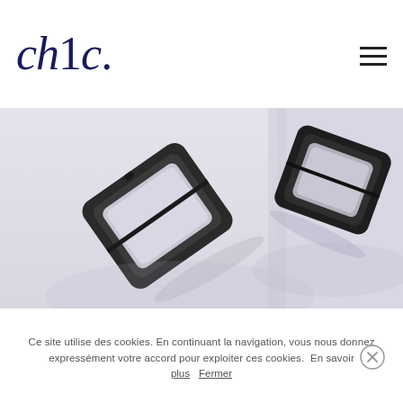chic.
[Figure (photo): Two compact powder/makeup cases photographed from above on a light grey/white background, positioned diagonally, one on the left and one on the right.]
Ce site utilise des cookies. En continuant la navigation, vous nous donnez expressément votre accord pour exploiter ces cookies.  En savoir plus  Fermer